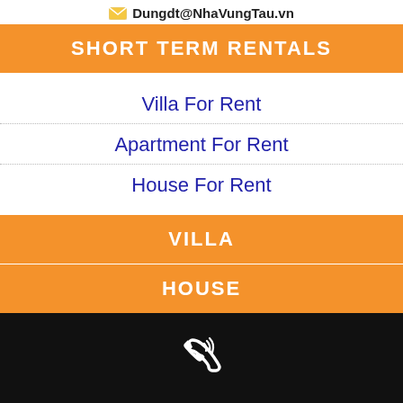Dungdt@NhaVungTau.vn
SHORT TERM RENTALS
Villa For Rent
Apartment For Rent
House For Rent
VILLA
Luxury Villa
Seaside Villa
Hill Villa
Pool Villa
City Center Villa
HOUSE